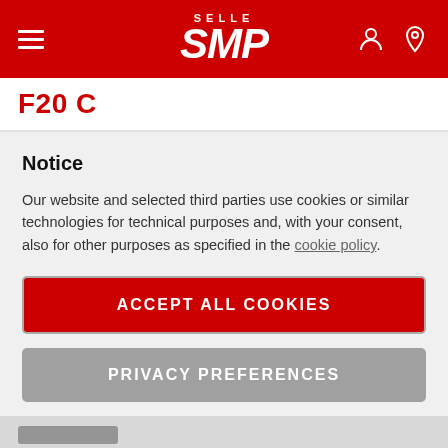Selle SMP — Navigation header with hamburger menu, logo, user and location icons
F20 C
Notice
Our website and selected third parties use cookies or similar technologies for technical purposes and, with your consent, also for other purposes as specified in the cookie policy.
ACCEPT ALL COOKIES
PRIVACY PREFERENCES